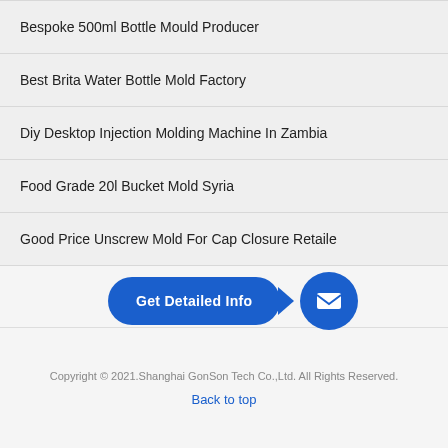Bespoke 500ml Bottle Mould Producer
Best Brita Water Bottle Mold Factory
Diy Desktop Injection Molding Machine In Zambia
Food Grade 20l Bucket Mold Syria
Good Price Unscrew Mold For Cap Closure Retaile
[Figure (infographic): Blue 'Get Detailed Info' CTA button with arrow pointing to a blue circle containing a mail/envelope icon]
Copyright © 2021.Shanghai GonSon Tech Co.,Ltd. All Rights Reserved.
Back to top